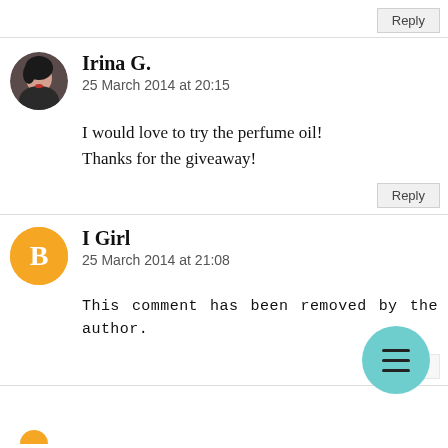Reply
Irina G.
25 March 2014 at 20:15
I would love to try the perfume oil!
Thanks for the giveaway!
Reply
I Girl
25 March 2014 at 21:08
This comment has been removed by the author.
Reply